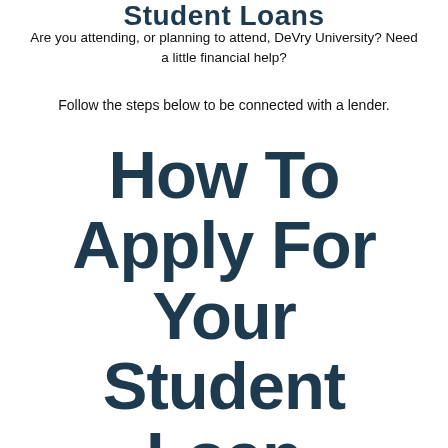Student Loans
Are you attending, or planning to attend, DeVry University? Need a little financial help?
Follow the steps below to be connected with a lender.
How To Apply For Your Student Loan